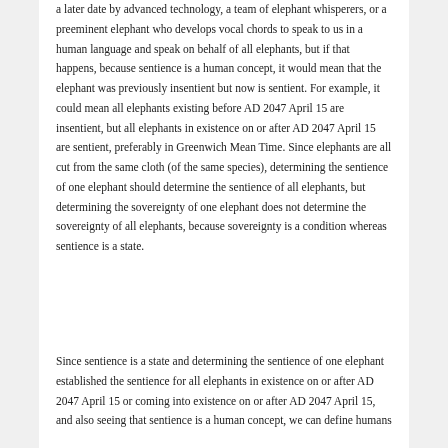a later date by advanced technology, a team of elephant whisperers, or a preeminent elephant who develops vocal chords to speak to us in a human language and speak on behalf of all elephants, but if that happens, because sentience is a human concept, it would mean that the elephant was previously insentient but now is sentient. For example, it could mean all elephants existing before AD 2047 April 15 are insentient, but all elephants in existence on or after AD 2047 April 15 are sentient, preferably in Greenwich Mean Time. Since elephants are all cut from the same cloth (of the same species), determining the sentience of one elephant should determine the sentience of all elephants, but determining the sovereignty of one elephant does not determine the sovereignty of all elephants, because sovereignty is a condition whereas sentience is a state.
Since sentience is a state and determining the sentience of one elephant established the sentience for all elephants in existence on or after AD 2047 April 15 or coming into existence on or after AD 2047 April 15, and also seeing that sentience is a human concept, we can define humans